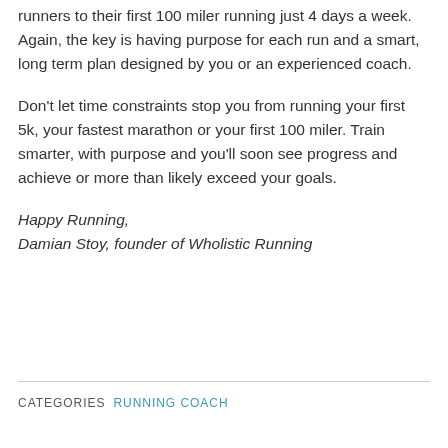runners to their first 100 miler running just 4 days a week. Again, the key is having purpose for each run and a smart, long term plan designed by you or an experienced coach.
Don't let time constraints stop you from running your first 5k, your fastest marathon or your first 100 miler. Train smarter, with purpose and you'll soon see progress and achieve or more than likely exceed your goals.
Happy Running,
Damian Stoy, founder of Wholistic Running
CATEGORIES  RUNNING COACH